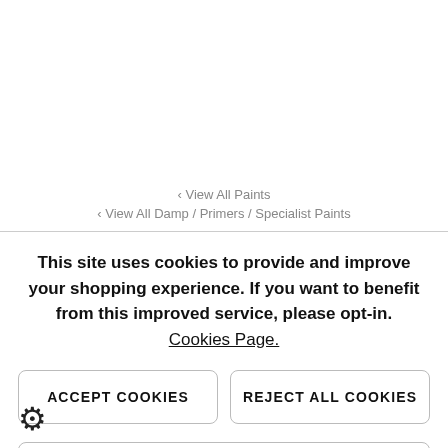‹ View All Paints
‹ View All Damp / Primers / Specialist Paints
This site uses cookies to provide and improve your shopping experience. If you want to benefit from this improved service, please opt-in. Cookies Page.
ACCEPT COOKIES
REJECT ALL COOKIES
MANAGE PREFERENCES